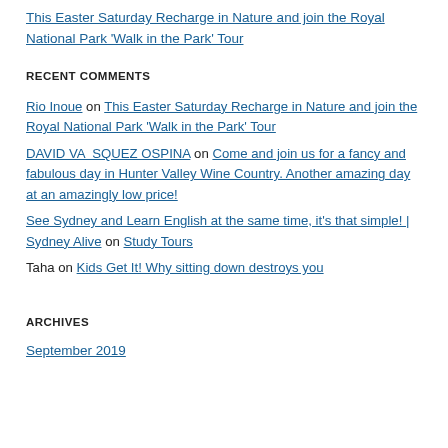This Easter Saturday Recharge in Nature and join the Royal National Park 'Walk in the Park' Tour
RECENT COMMENTS
Rio Inoue on This Easter Saturday Recharge in Nature and join the Royal National Park 'Walk in the Park' Tour
DAVID VA SQUEZ OSPINA on Come and join us for a fancy and fabulous day in Hunter Valley Wine Country. Another amazing day at an amazingly low price!
See Sydney and Learn English at the same time, it's that simple! | Sydney Alive on Study Tours
Taha on Kids Get It! Why sitting down destroys you
ARCHIVES
September 2019